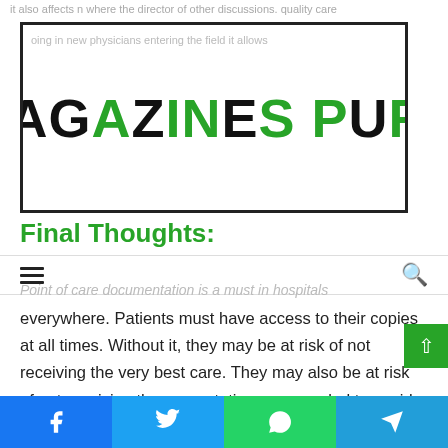MagAzINes PurE
Final Thoughts:
Point of care documentation is a must in hospitals everywhere. Patients must have access to their copies at all times. Without it, they may be at risk of not receiving the very best care. They may also be at risk of not receiving the preventative care needed to avoid serious illness or injury later. It also helps to ensure that the best medical professionals are being utilized. For insurance companies, it helps them know that the patients they are paying are receiving the highest quality of care. For more info visit